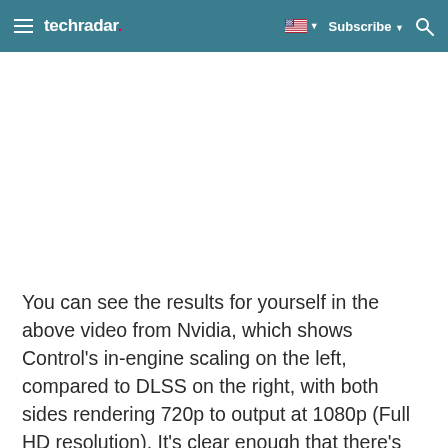techradar | Subscribe
[Figure (other): Embedded video placeholder area (blank white space where a video would play)]
You can see the results for yourself in the above video from Nvidia, which shows Control's in-engine scaling on the left, compared to DLSS on the right, with both sides rendering 720p to output at 1080p (Full HD resolution). It's clear enough that there's far more shimmering and off-putting flickering with DLSS